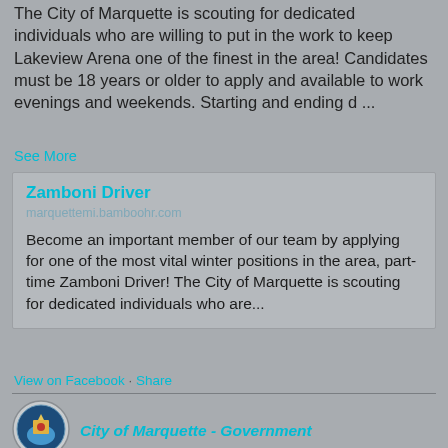The City of Marquette is scouting for dedicated individuals who are willing to put in the work to keep Lakeview Arena one of the finest in the area! Candidates must be 18 years or older to apply and available to work evenings and weekends. Starting and ending d ...
See More
[Figure (screenshot): A card/link preview box showing a job listing for Zamboni Driver at marquettemi.bamboohr.com with description text about applying for the part-time position.]
View on Facebook · Share
[Figure (logo): City of Marquette seal/logo - circular emblem]
City of Marquette - Government
Thank you to all our Election Workers, who got involved and helped make election day a success.
Photo